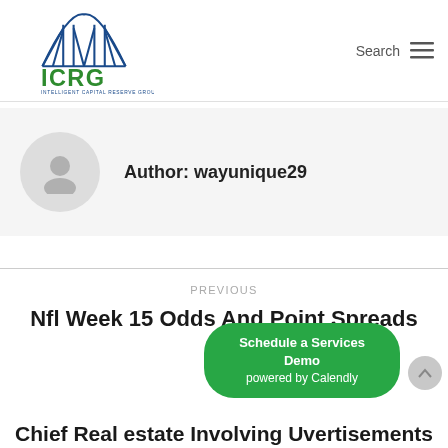[Figure (logo): ICRG - Intelligent Capital Reserve Group logo with bridge graphic in blue and green]
Search
Author: wayunique29
PREVIOUS
Nfl Week 15 Odds And Point Spreads
Schedule a Services Demo powered by Calendly
Chief Real estate Involving Uvertisements